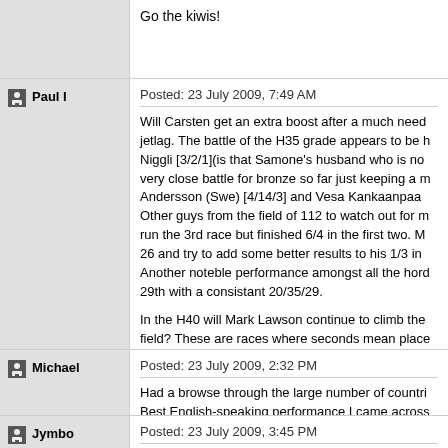Go the kiwis!
Paul I
Posted: 23 July 2009, 7:49 AM
Will Carsten get an extra boost after a much needed jetlag. The battle of the H35 grade appears to be h Niggli [3/2/1](is that Samone's husband who is no very close battle for bronze so far just keeping a m Andersson (Swe) [4/14/3] and Vesa Kankaanpaa Other guys from the field of 112 to watch out for m run the 3rd race but finished 6/4 in the first two. M 26 and try to add some better results to his 1/3 in Another noteble performance amongst all the hor 29th with a consistant 20/35/29.

In the H40 will Mark Lawson continue to climb the field? These are races where seconds mean place the other hand couldn't keep up his first day result Ex Aussie Eddie Wymer now residing in France I t 34/43/11. I remember being running against him in name.
Michael
Posted: 23 July 2009, 2:32 PM
Had a browse through the large number of countri Best English-speaking performance I came across came across: Mike in t' Groen. No he's not from Ir
Jymbo
Posted: 23 July 2009, 3:45 PM